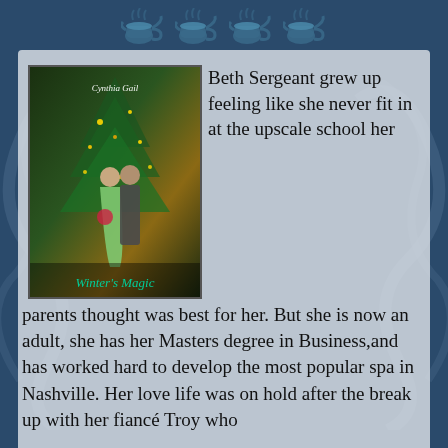[Figure (illustration): Four teacup/teapot icons in a row, decorative, teal/navy color]
[Figure (photo): Book cover: 'Winter's Magic' by Cynthia Gail. Shows a couple in formal wear near a Christmas tree. Woman in green dress, man in suit.]
Beth Sergeant grew up feeling like she never fit in at the upscale school her parents thought was best for her. But she is now an adult, she has her Masters degree in Business,and has worked hard to develop the most popular spa in Nashville. Her love life was on hold after the break up with her fiancé Troy who thought the…